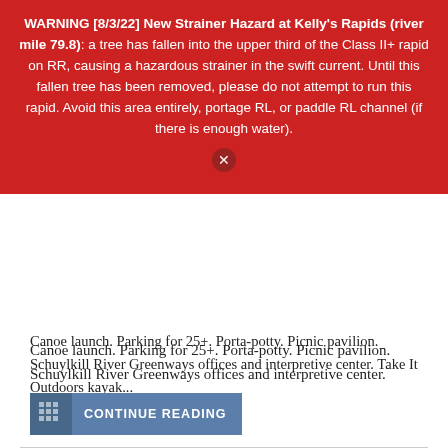WARNING [8/3/22] New Strainer Hazard at Kelly's Rapids (river mile 79.8): a tree has fallen into the upper third of the Class II+ rapid on RR, causing a hazardous strainer in the swift current. Until this fallen tree has been removed, please do not attempt to run this rapid. Avoid this area entirely, portage RL, or paddle RL channel (if there is enough water).
Canoe launch. Parking for 25+. Porta-potty. Picnic pavilion. Schuylkill River Greenways offices and interpretive center. Take It Outdoors kayak...
CONTINUE READING
Jackson's Landing
[Figure (logo): Schuylkill River Greenways logo on dark teal background]